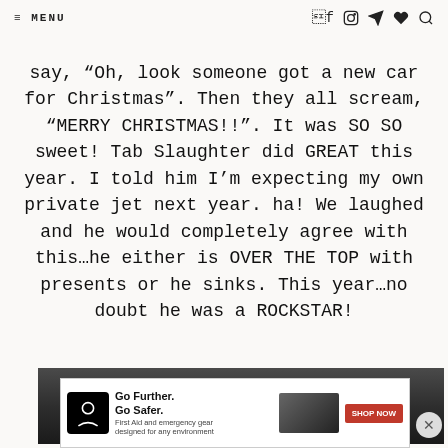≡ MENU  [social icons]
say, “Oh, look someone got a new car for Christmas”.  Then they all scream, “MERRY CHRISTMAS!!”.  It was SO SO sweet!  Tab Slaughter did GREAT this year.  I told him I’m expecting my own private jet next year.  ha!  We laughed and he would completely agree with this…he either is OVER THE TOP with presents or he sinks.  This year…no doubt he was a ROCKSTAR!
[Figure (photo): Dark background image, partially visible at the bottom of the page]
[Figure (screenshot): Advertisement banner: Uncharted Supply Co. Go Further. Go Safer. First Aid and emergency gear designed for any environment. SHOP NOW button.]